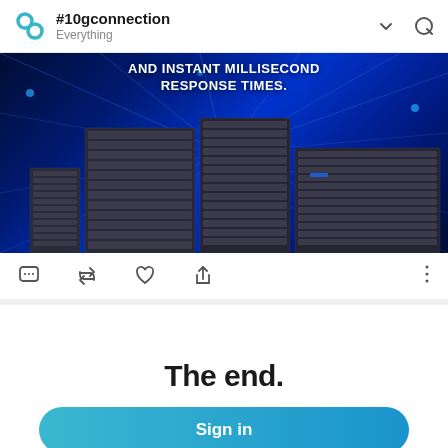#10gconnection Everything
[Figure (screenshot): Banner image showing server hardware (rack servers, blade servers) on a blue glowing network background with text AND INSTANT MILLISECOND RESPONSE TIMES.]
AND INSTANT MILLISECOND RESPONSE TIMES.
[Figure (infographic): Social media action bar with comment, retweet, like (heart), share, and more (...) icons]
The end.
Sign in